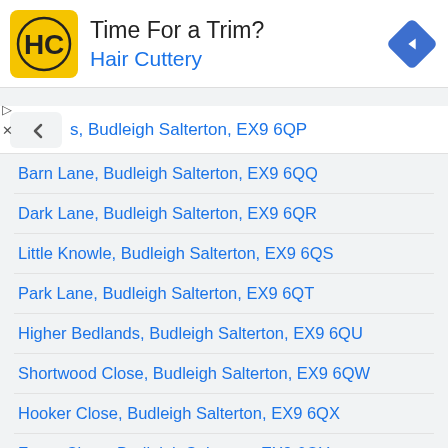[Figure (logo): Hair Cuttery advertisement banner with logo, 'Time For a Trim?' heading and navigation diamond icon]
s, Budleigh Salterton, EX9 6QP
Barn Lane, Budleigh Salterton, EX9 6QQ
Dark Lane, Budleigh Salterton, EX9 6QR
Little Knowle, Budleigh Salterton, EX9 6QS
Park Lane, Budleigh Salterton, EX9 6QT
Higher Bedlands, Budleigh Salterton, EX9 6QU
Shortwood Close, Budleigh Salterton, EX9 6QW
Hooker Close, Budleigh Salterton, EX9 6QX
Forge Close, Budleigh Salterton, EX9 6QY
Budleigh Salterton, EX9 6QZ (No Longer In Use)
Deepways, Budleigh Salterton, EX9 6RA
Norman Crescent, Budleigh Salterton, EX9 6RB